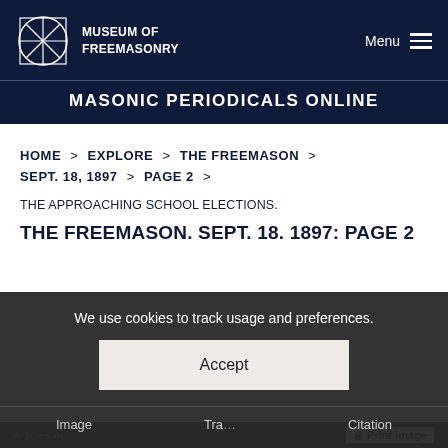MUSEUM OF FREEMASONRY
MASONIC PERIODICALS ONLINE
HOME > EXPLORE > THE FREEMASON >
SEPT. 18, 1897 > PAGE 2 >
THE APPROACHING SCHOOL ELECTIONS.
THE FREEMASON. SEPT. 18. 1897: PAGE 2
We use cookies to track usage and preferences.
Accept
Image   Tra...   Citation
Privacy & cookie policy
Articles/Ads
Print image